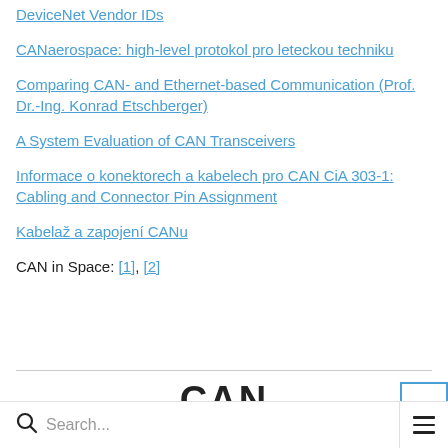DeviceNet Vendor IDs
CANaerospace: high-level protokol pro leteckou techniku
Comparing CAN- and Ethernet-based Communication (Prof. Dr.-Ing. Konrad Etschberger)
A System Evaluation of CAN Transceivers
Informace o konektorech a kabelech pro CAN CiA 303-1: Cabling and Connector Pin Assignment
Kabelaž a zapojení CANu
CAN in Space: [1], [2]
[Figure (logo): CAN logo partially visible at bottom of page]
Search... [menu icon]